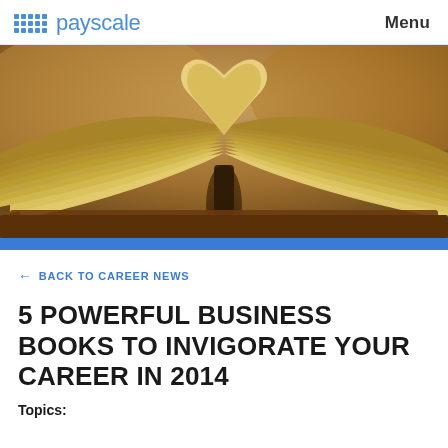payscale   Menu
[Figure (photo): An open book with two pages folded upward to form a heart shape, photographed close-up with a warm brown/golden blurred background. A blue bar runs across the bottom of the image.]
← BACK TO CAREER NEWS
5 POWERFUL BUSINESS BOOKS TO INVIGORATE YOUR CAREER IN 2014
Topics: